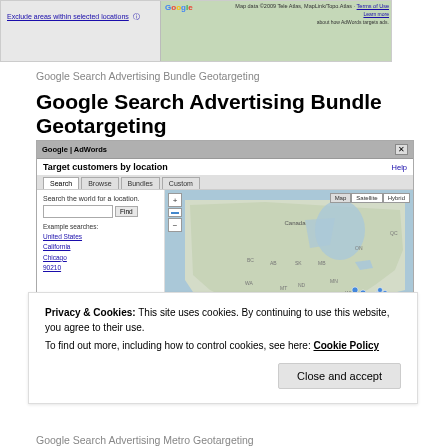[Figure (screenshot): Top portion of a previous page showing Google AdWords geotargeting interface with a map and 'Exclude areas within selected locations' link]
Google Search Advertising Bundle Geotargeting
Google Search Advertising Bundle Geotargeting
[Figure (screenshot): Google AdWords 'Target customers by location' dialog with Search/Browse/Bundles/Custom tabs, a search field with example searches (United States, California, Chicago, 90210), and a map of North America with blue location pins]
Privacy & Cookies: This site uses cookies. By continuing to use this website, you agree to their use.
To find out more, including how to control cookies, see here: Cookie Policy
Google Search Advertising Metro Geotargeting